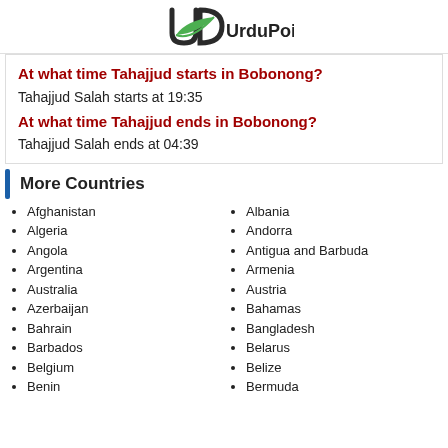UrduPoint
At what time Tahajjud starts in Bobonong?
Tahajjud Salah starts at 19:35
At what time Tahajjud ends in Bobonong?
Tahajjud Salah ends at 04:39
More Countries
Afghanistan
Algeria
Angola
Argentina
Australia
Azerbaijan
Bahrain
Barbados
Belgium
Benin
Albania
Andorra
Antigua and Barbuda
Armenia
Austria
Bahamas
Bangladesh
Belarus
Belize
Bermuda